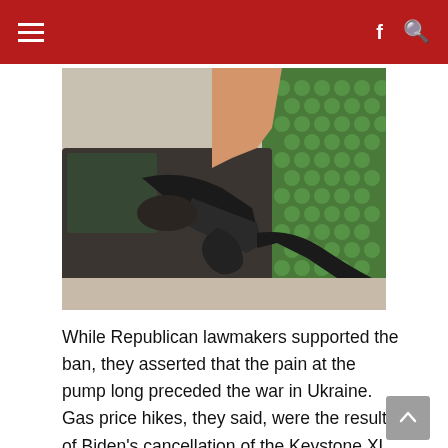Navigation bar with hamburger menu, Facebook and Search icons
[Figure (photo): Close-up photo of a person's hand gripping a black fuel pump nozzle inserted into a car's gas tank at a gas station, with green signage visible in the background]
While Republican lawmakers supported the ban, they asserted that the pain at the pump long preceded the war in Ukraine. Gas price hikes, they said, were the result of Biden's cancellation of the Keystone XL pipeline, the tax on production, drilling moratoriums and...